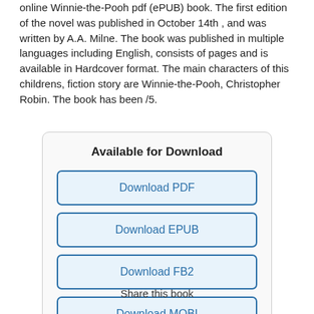online Winnie-the-Pooh pdf (ePUB) book. The first edition of the novel was published in October 14th , and was written by A.A. Milne. The book was published in multiple languages including English, consists of pages and is available in Hardcover format. The main characters of this childrens, fiction story are Winnie-the-Pooh, Christopher Robin. The book has been /5.
[Figure (other): A download box with heading 'Available for Download' and five buttons: Download PDF, Download EPUB, Download FB2, Download MOBI, Download TXT.]
Share this book